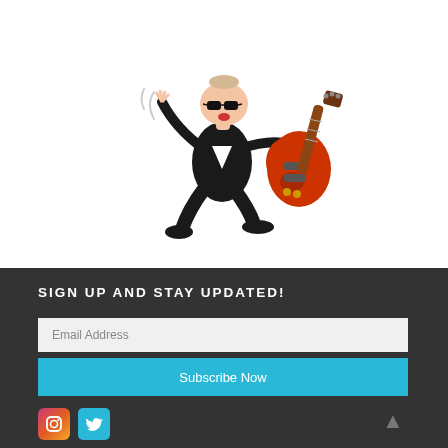[Figure (illustration): Cartoon illustration of a bald man wearing black sunglasses and a black suit, playing a red electric guitar with one arm raised in the air, in a rock star pose.]
SIGN UP AND STAY UPDATED!
Email Address
Subscribe Now
[Figure (logo): Instagram icon (pink/orange gradient square with rounded corners and camera outline) and Twitter icon (blue square with bird logo)]